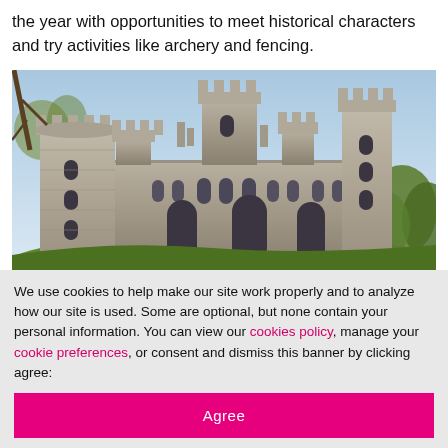the year with opportunities to meet historical characters and try activities like archery and fencing.
[Figure (photo): Photograph of a large medieval castle with stone towers, battlements, and Gothic-style windows, set against a light blue sky with trees in the foreground]
We use cookies to help make our site work properly and to analyze how our site is used. Some are optional, but none contain your personal information. You can view our cookies policy, manage your cookie preferences, or consent and dismiss this banner by clicking agree:
Agree